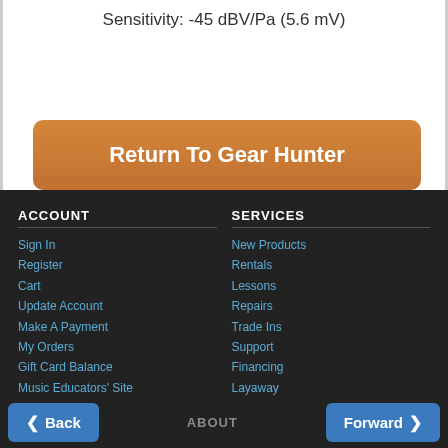Sensitivity: -45 dBV/Pa (5.6 mV)
Return To Gear Hunter
ACCOUNT
Sign In
Register
Cart
Update Account
Make A Payment
My Orders
Gift Card Balance
Music Educators' Site
SERVICES
New Products
Rentals
Lessons
Repairs
Trade Ins
Support
Financing
Layaway
Shipping
Performance Assurance
NEWS & EVENTS
ABOUT
Back | Forward